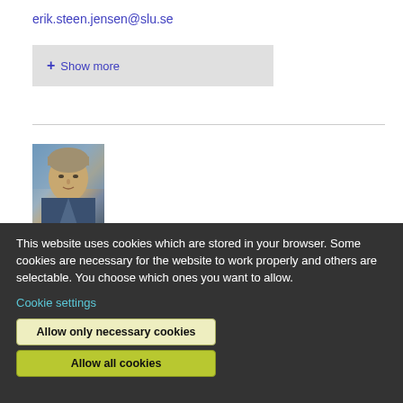erik.steen.jensen@slu.se
+ Show more
[Figure (photo): Headshot photo of a middle-aged man with grey-blond hair outdoors]
Knut Håkon Jansson (partially visible, bold italic)
This website uses cookies which are stored in your browser. Some cookies are necessary for the website to work properly and others are selectable. You choose which ones you want to allow.
Cookie settings
Allow only necessary cookies
Allow all cookies